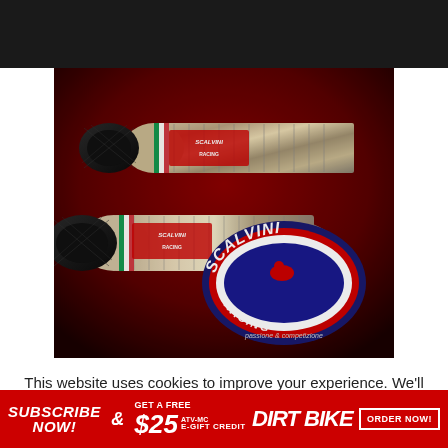[Figure (photo): Black bar header area at top of page]
[Figure (photo): Scalvini Racing exhaust pipes product photo with red background, showing chrome exhaust pipes with carbon fiber end caps and the Scalvini Racing logo badge]
This website uses cookies to improve your experience. We'll assume you're ok with this, but you can opt-out if you wish.
[Figure (other): Teal/cyan X close button]
[Figure (infographic): Red subscribe banner: SUBSCRIBE NOW! & GET A FREE $25 ATV-MC E-GIFT CREDIT | DIRT BIKE | ORDER NOW!]